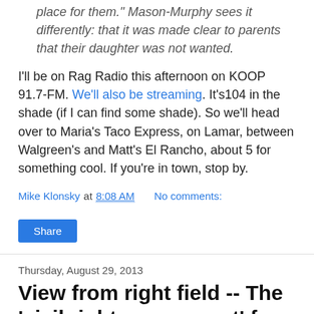place for them." Mason-Murphy sees it differently: that it was made clear to parents that their daughter was not wanted.
I'll be on Rag Radio this afternoon on KOOP 91.7-FM. We'll also be streaming. It's104 in the shade (if I can find some shade). So we'll head over to Maria's Taco Express, on Lamar, between Walgreen's and Matt's El Rancho, about 5 for something cool. If you're in town, stop by.
Mike Klonsky at 8:08 AM   No comments:
Share
Thursday, August 29, 2013
View from right field -- The 'civil rights movement' for school vouchers